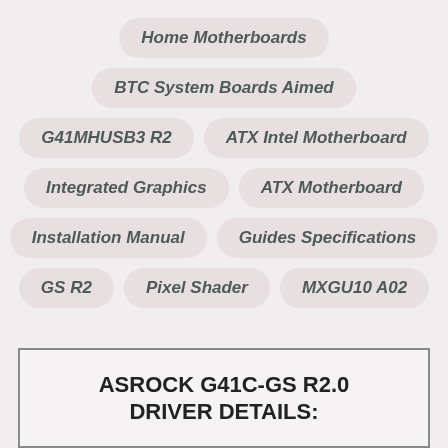Home Motherboards
BTC System Boards Aimed
G41MHUSB3 R2
ATX Intel Motherboard
Integrated Graphics
ATX Motherboard
Installation Manual
Guides Specifications
GS R2
Pixel Shader
MXGU10 A02
ASROCK G41C-GS R2.0 DRIVER DETAILS: